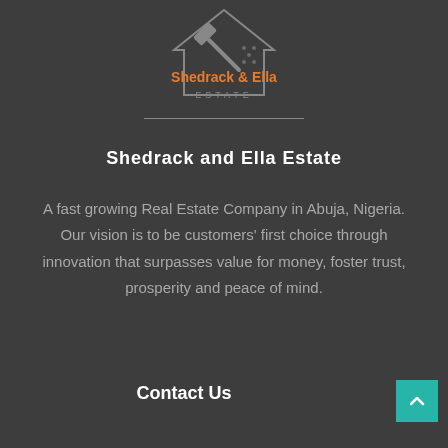[Figure (logo): Shedrack and Ella Estate logo with hammer icon and orange text]
Shedrack and Ella Estate
A fast growing Real Estate Company in Abuja, Nigeria. Our vision is to be customers' first choice through innovation that surpasses value for money, foster trust, prosperity and peace of mind.
Contact Us